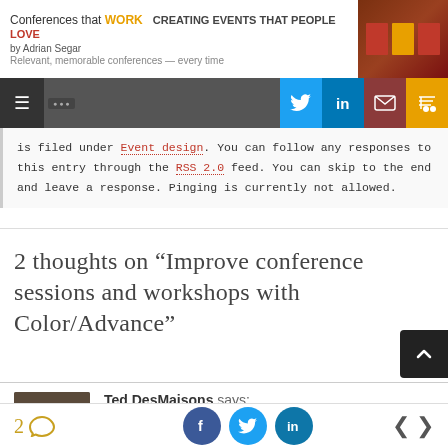Conferences that WORK · CREATING EVENTS THAT PEOPLE LOVE — by Adrian Segar. Relevant, memorable conferences — every time
is filed under Event design. You can follow any responses to this entry through the RSS 2.0 feed. You can skip to the end and leave a response. Pinging is currently not allowed.
2 thoughts on "Improve conference sessions and workshops with Color/Advance"
Ted DesMaisons says: October 13, 2015 at 11:12 am
2 comments · share on facebook, twitter, linkedin